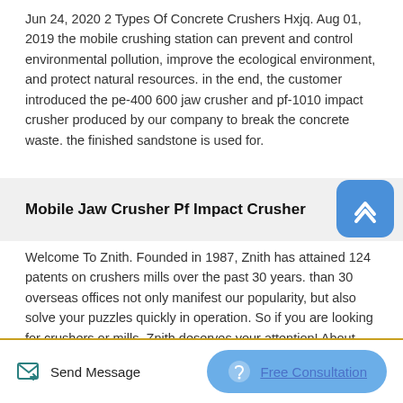Jun 24, 2020 2 Types Of Concrete Crushers Hxjq. Aug 01, 2019 the mobile crushing station can prevent and control environmental pollution, improve the ecological environment, and protect natural resources. in the end, the customer introduced the pe-400 600 jaw crusher and pf-1010 impact crusher produced by our company to break the concrete waste. the finished sandstone is used for.
Mobile Jaw Crusher Pf Impact Crusher
[Figure (other): Scroll-to-top button: rounded blue square with a white upward chevron (^) icon]
Welcome To Znith. Founded in 1987, Znith has attained 124 patents on crushers mills over the past 30 years. than 30 overseas offices not only manifest our popularity, but also solve your puzzles quickly in operation. So if you are looking for crushers or mills, Znith deserves your attention! About .
Send Message   Free Consultation